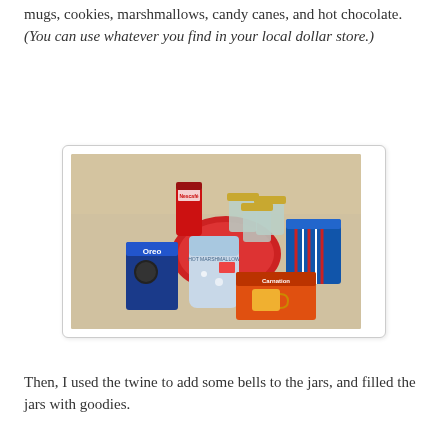mugs, cookies, marshmallows, candy canes, and hot chocolate. (You can use whatever you find in your local dollar store.)
[Figure (photo): Flat lay photo showing gift supplies including mason jars with gold lids, Oreo cookies, a bag of marshmallows, a red tray, candy canes, Nescafe coffee, and a Carnation hot chocolate box on a light fabric surface.]
Then, I used the twine to add some bells to the jars, and filled the jars with goodies.